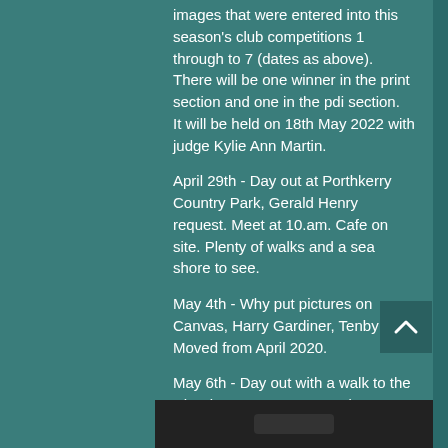images that were entered into this season's club competitions 1 through to 7 (dates as above). There will be one winner in the print section and one in the pdi section.
It will be held on 18th May 2022 with judge Kylie Ann Martin.
April 29th - Day out at Porthkerry Country Park, Gerald Henry request. Meet at 10.am. Cafe on site. Plenty of walks and a sea shore to see.
May 4th - Why put pictures on Canvas, Harry Gardiner, Tenby CC? Moved from April 2020.
May 6th - Day out with a walk to the Chartists Cave - Tom Dee is our leader. Meeting time and directions will be sent out.